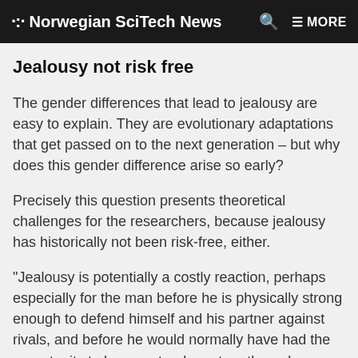Norwegian SciTech News
Jealousy not risk free
The gender differences that lead to jealousy are easy to explain. They are evolutionary adaptations that get passed on to the next generation – but why does this gender difference arise so early?
Precisely this question presents theoretical challenges for the researchers, because jealousy has historically not been risk-free, either.
“Jealousy is potentially a costly reaction, perhaps especially for the man before he is physically strong enough to defend himself and his partner against rivals, and before he would normally have had the opportunity to have a steady partner through…